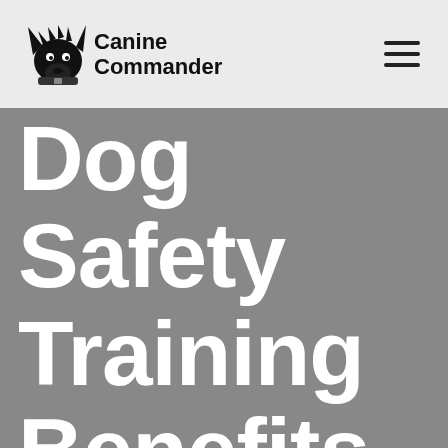Canine Commander
Dog Safety Training Benefits